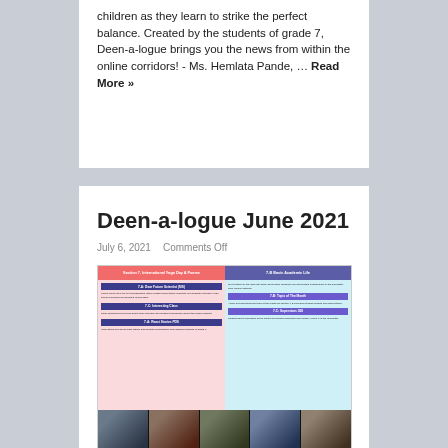children as they learn to strike the perfect balance. Created by the students of grade 7, Deen-a-logue brings you the news from within the online corridors! - Ms. Hemlata Pande, … Read More »
Deen-a-logue June 2021
July 6, 2021   Comments Off
[Figure (screenshot): Screenshot of a newsletter page titled 'Deen-a-logue June 2021' showing a two-column newsletter layout with pink and blue sections, section headers in dark blue and purple, small text blocks, and a row of student photos at the bottom.]